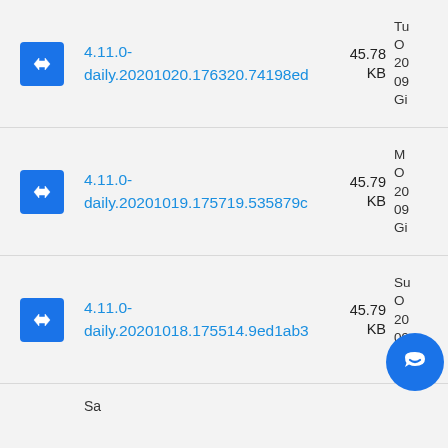4.11.0-daily.20201020.176320.74198ed  45.78 KB  Tu O 20 09 Gi
4.11.0-daily.20201019.175719.535879c  45.79 KB  M O 20 09 Gi
4.11.0-daily.20201018.175514.9ed1ab3  45.79 KB  Su O 20 09 Gi
Sa